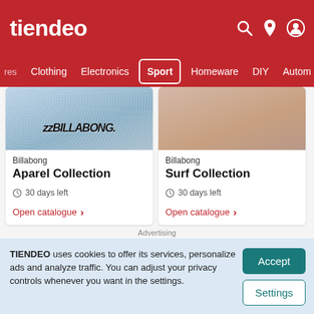tiendeo
res  Clothing  Electronics  Sport  Homeware  DIY  Autom
[Figure (screenshot): Billabong Aparel Collection catalogue card with image of floral clothing and Billabong logo]
Billabong
Aparel Collection
30 days left
Open catalogue
[Figure (screenshot): Billabong Surf Collection catalogue card with image of person and swimwear]
Billabong
Surf Collection
30 days left
Open catalogue
Advertising
TIENDEO uses cookies to offer its services, personalize ads and analyze traffic. You can adjust your privacy controls whenever you want in the settings.